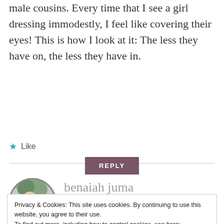male cousins. Every time that I see a girl dressing immodestly, I feel like covering their eyes! This is how I look at it: The less they have on, the less they have in.
★ Like
REPLY
benaiah juma
APRIL 26, 2016 AT 1:06 PM
Privacy & Cookies: This site uses cookies. By continuing to use this website, you agree to their use.
To find out more, including how to control cookies, see here: Cookie Policy
Close and accept
this in the world.